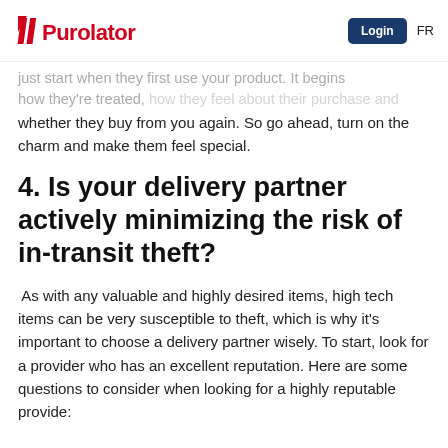Purolator | Login | FR
just start when they first use your product. It begins how they're treated, how they feel about their purchase and whether they buy from you again. So go ahead, turn on the charm and make them feel special.
4. Is your delivery partner actively minimizing the risk of in-transit theft?
As with any valuable and highly desired items, high tech items can be very susceptible to theft, which is why it's important to choose a delivery partner wisely. To start, look for a provider who has an excellent reputation. Here are some questions to consider when looking for a highly reputable provide: